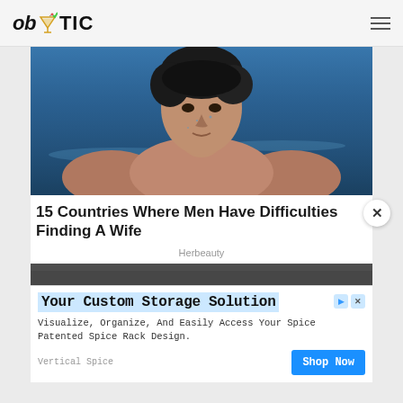ob TIC
[Figure (photo): Shirtless athletic man with wet dark hair emerging from a swimming pool, water visible in the background, blue tones]
15 Countries Where Men Have Difficulties Finding A Wife
Herbeauty
[Figure (photo): Partial view of a second article image, dark/grey tones, partially obscured by advertisement overlay]
Your Custom Storage Solution
Visualize, Organize, And Easily Access Your Spice Patented Spice Rack Design.
Vertical Spice
Shop Now